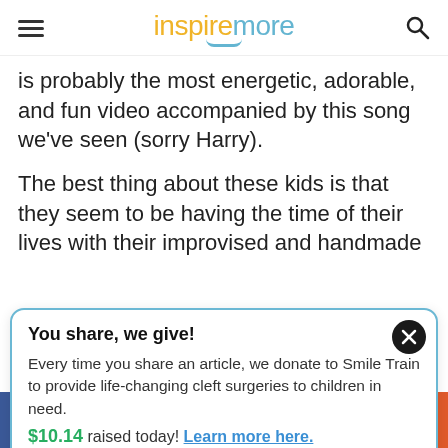inspiremore
is probably the most energetic, adorable, and fun video accompanied by this song we've seen (sorry Harry).
The best thing about these kids is that they seem to be having the time of their lives with their improvised and handmade
You share, we give! Every time you share an article, we donate to Smile Train to provide life-changing cleft surgeries to children in need. $10.14 raised today! Learn more here.
f  Twitter  Pinterest  Reddit  Email  +